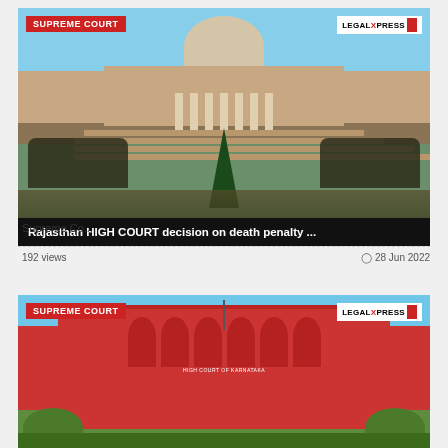[Figure (photo): Supreme Court of India building with dome, columns, steps and crowds on both sides. SUPREME COURT badge top-left, LEGALXPRESS logo top-right.]
Rajasthan HIGH COURT decision on death penalty ...
Supreme Co...
192 views
28 Jun 2022
[Figure (photo): Karnataka High Court building in red, with columns and arches. SUPREME COURT badge top-left, LEGALXPRESS logo top-right.]